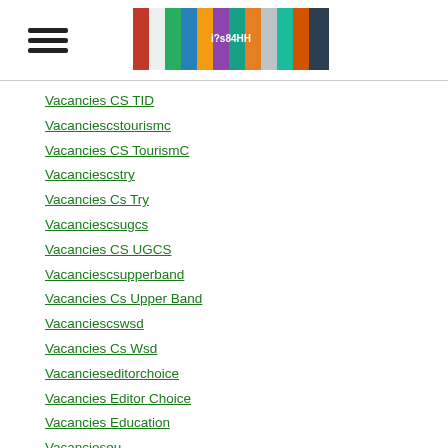[Figure (illustration): Hamburger menu icon (three horizontal bars)]
[Figure (illustration): Website banner/logo image with colorful collage of photos and Chinese/English text]
Vacancies CS TID
Vacanciescstourismc
Vacancies CS TourismC
Vacanciescstry
Vacancies Cs Try
Vacanciescsugcs
Vacancies CS UGCS
Vacanciescsupperband
Vacancies Cs Upper Band
Vacanciescswsd
Vacancies Cs Wsd
Vacancieseditorchoice
Vacancies Editor Choice
Vacancies Education
Vacancieseu
Vacancies Eu
Vacancieshealth
Vacancies Health
Vacancieshealth...